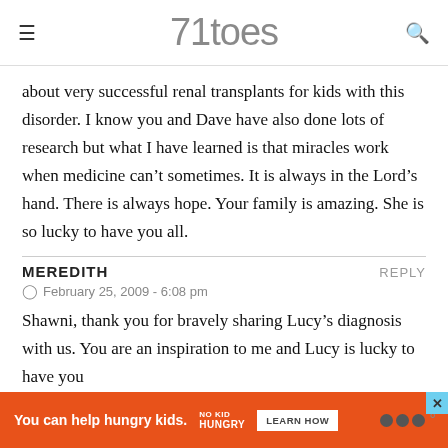71toes
about very successful renal transplants for kids with this disorder. I know you and Dave have also done lots of research but what I have learned is that miracles work when medicine can't sometimes. It is always in the Lord's hand. There is always hope. Your family is amazing. She is so lucky to have you all.
MEREDITH
February 25, 2009 - 6:08 pm
Shawni, thank you for bravely sharing Lucy's diagnosis with us. You are an inspiration to me and Lucy is lucky to have you
[Figure (infographic): Advertisement banner: orange background. Text: 'You can help hungry kids.' with No Kid Hungry logo and 'LEARN HOW' button. Close button (X) in top right.]